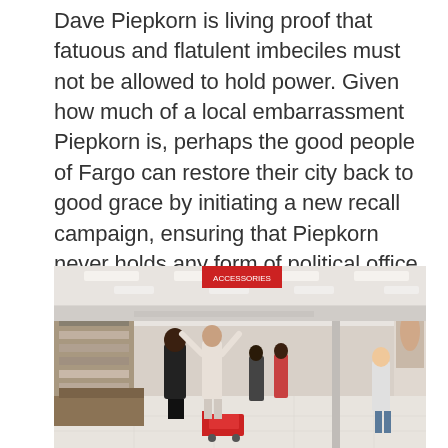Dave Piepkorn is living proof that fatuous and flatulent imbeciles must not be allowed to hold power. Given how much of a local embarrassment Piepkorn is, perhaps the good people of Fargo can restore their city back to good grace by initiating a new recall campaign, ensuring that Piepkorn never holds any form of political office ever again.
[Figure (photo): Interior of a Target retail store. People are standing and moving in the aisle between clothing racks. Fluorescent ceiling lights illuminate the space. Red shopping carts are visible. A red-and-white Target banner is partially visible. Several shoppers and workers are visible in the background.]